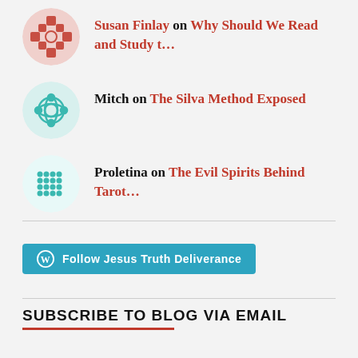Susan Finlay on Why Should We Read and Study t…
Mitch on The Silva Method Exposed
Proletina on The Evil Spirits Behind Tarot…
[Figure (other): Follow Jesus Truth Deliverance WordPress follow button]
SUBSCRIBE TO BLOG VIA EMAIL